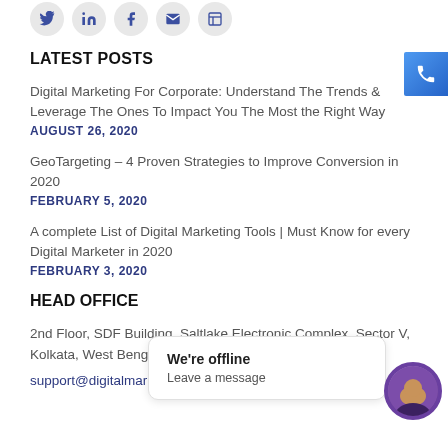[Figure (illustration): Row of social media icon circles (partially cut off at top): Twitter, LinkedIn, Facebook, email/envelope, and one more]
LATEST POSTS
Digital Marketing For Corporate: Understand The Trends & Leverage The Ones To Impact You The Most the Right Way
AUGUST 26, 2020
GeoTargeting – 4 Proven Strategies to Improve Conversion in 2020
FEBRUARY 5, 2020
A complete List of Digital Marketing Tools | Must Know for every Digital Marketer in 2020
FEBRUARY 3, 2020
HEAD OFFICE
2nd Floor, SDF Building, Saltlake Electronic Complex, Sector V,
Kolkata, West Bengal
support@digitalmarke…
[Figure (illustration): Phone call button widget (blue gradient square with white phone icon) at top right]
[Figure (illustration): Chat bubble widget showing 'We're offline / Leave a message' with avatar photo of a man]